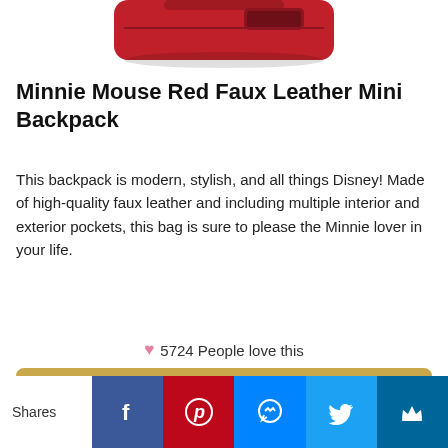[Figure (photo): Red faux leather mini backpack product photo, cropped at top showing bottom portion of bag]
Minnie Mouse Red Faux Leather Mini Backpack
This backpack is modern, stylish, and all things Disney! Made of high-quality faux leather and including multiple interior and exterior pockets, this bag is sure to please the Minnie lover in your life.
♥ 5724 People love this
GET IT HERE
Shares